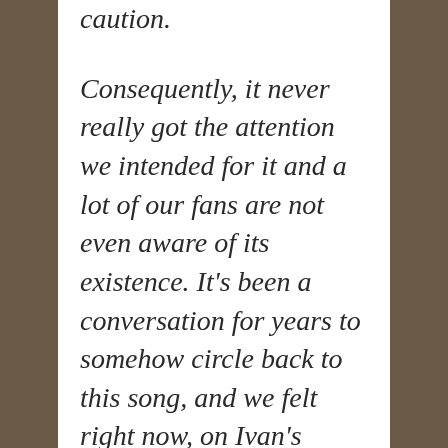caution.
Consequently, it never really got the attention we intended for it and a lot of our fans are not even aware of its existence. It's been a conversation for years to somehow circle back to this song, and we felt right now, on Ivan's birthday, and two months from his 4th sober anniversary it is probably as good of an occasion as it can be to release this music